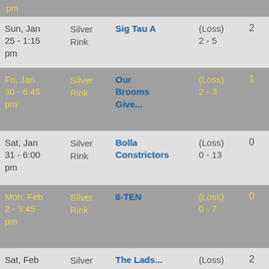| Date | Rink | Opponent | Result | Pts |
| --- | --- | --- | --- | --- |
| pm | Silver Rink |  |  |  |
| Sun, Jan 25 - 1:15 pm | Silver Rink | Sig Tau A | (Loss) 2 - 5 | 2 |
| Fri, Jan 30 - 6:45 pm | Silver Rink | Our Brooms Give... | (Loss) 2 - 3 | 1 |
| Sat, Jan 31 - 6:00 pm | Silver Rink | Bolla Constrictors | (Loss) 0 - 13 | 0 |
| Mon, Feb 2 - 9:45 pm | Silver Rink | 8-TEN | (Loss) 0 - 7 | 0 |
| Sat, Feb 7 - 11:45 | Silver Rink | The Lads... | (Loss) | 2 |